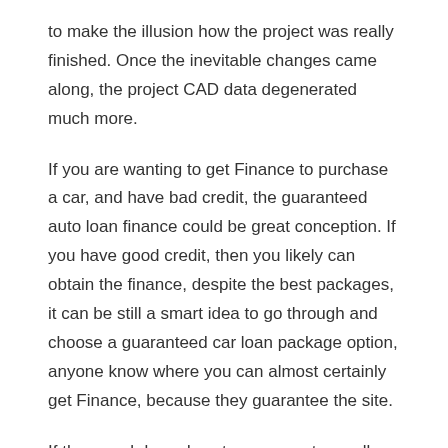to make the illusion how the project was really finished. Once the inevitable changes came along, the project CAD data degenerated much more.
If you are wanting to get Finance to purchase a car, and have bad credit, the guaranteed auto loan finance could be great conception. If you have good credit, then you likely can obtain the finance, despite the best packages, it can be still a smart idea to go through and choose a guaranteed car loan package option, anyone know where you can almost certainly get Finance, because they guarantee the site.
If these web based customers create a call must a few questions, does your finance manager answer them, or resort to your former game of “I are only allowed to reveal those options when you come in for an interview”? Does he or she become discouraged coming from the process of reviewing transactions over cell phone? Does your Internet manager have direct regarding your finance manager